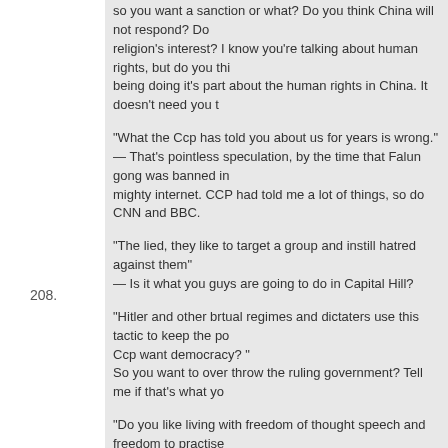so you want a sanction or what? Do you think China will not respond? Do religion's interest? I know you're talking about human rights, but do you thi being doing it's part about the human rights in China. It doesn't need you t
"What the Ccp has told you about us for years is wrong."
— That's pointless speculation, by the time that Falun gong was banned in mighty internet. CCP had told me a lot of things, so do CNN and BBC.
"The lied, they like to target a group and instill hatred against them"
— Is it what you guys are going to do in Capital Hill?
"Hitler and other brtual regimes and dictaters use this tactic to keep the po Ccp want democracy? "
So you want to over throw the ruling government? Tell me if that's what yo
"Do you like living with freedom of thought speech and freedom to practise
— You're absolutely right. But I also hate lies. I hate people get hurt under
208.
specul8r Says:
July 16th, 2008 at 5:59 am
To Jana:
"So you admit to there being a Christian religion that is valid and a Buddhi ancient and recent paths.. Now you are showing your true colours Like i sa shakyamuni in their days"
Keep your facts straight. Stop twisting something I didn't say. I have never Shakyamuni in their days. It's your twisted saying that Buddha Shakyamur twist things to make your point and make others to believe you are sayinc